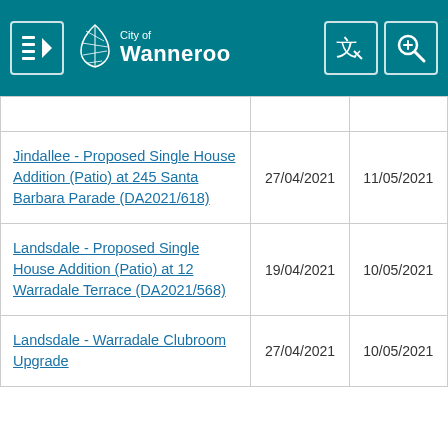City of Wanneroo
|  |  |  |
| --- | --- | --- |
| Jindalee - Proposed Single House Addition (Patio) at 245 Santa Barbara Parade (DA2021/618) | 27/04/2021 | 11/05/2021 |
| Landsdale - Proposed Single House Addition (Patio) at 12 Warradale Terrace (DA2021/568) | 19/04/2021 | 10/05/2021 |
| Landsdale - Warradale Clubroom Upgrade | 27/04/2021 | 10/05/2021 |